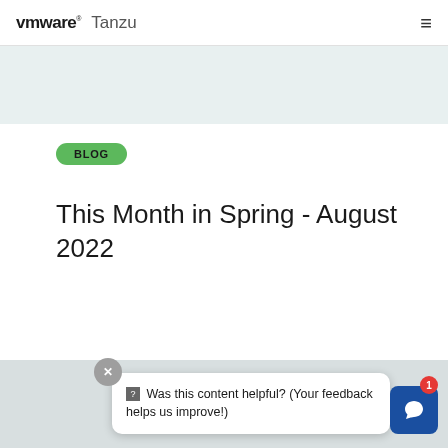VMware Tanzu
[Figure (screenshot): Light blue decorative banner strip below the navigation bar]
BLOG
This Month in Spring - August 2022
Was this content helpful? (Your feedback helps us improve!)